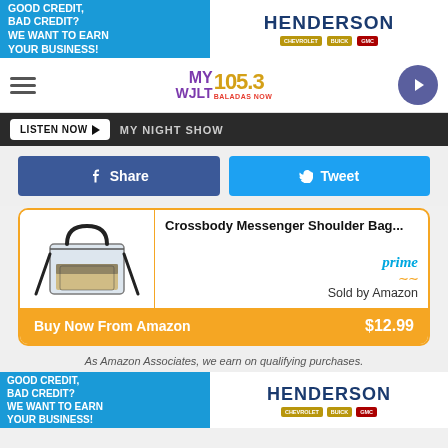[Figure (screenshot): Henderson Chevrolet Buick GMC advertisement banner - Good Credit, Bad Credit? We Want to Earn Your Business!]
[Figure (logo): MY 105.3 WJLT radio station logo with navigation bar and play button]
LISTEN NOW ▶  MY NIGHT SHOW
Share
Tweet
[Figure (photo): Clear crossbody messenger shoulder bag product image]
Crossbody Messenger Shoulder Bag...
prime
Sold by Amazon
Buy Now From Amazon  $12.99
As Amazon Associates, we earn on qualifying purchases.
[Figure (screenshot): Henderson Chevrolet Buick GMC advertisement banner - Good Credit, Bad Credit? We Want to Earn Your Business! (bottom)]